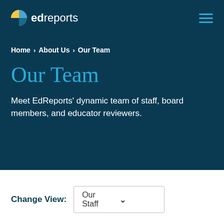[Figure (logo): EdReports logo with pie-chart icon in blue and yellow, white text 'edreports']
Home › About Us › Our Team
Our Team
Meet EdReports' dynamic team of staff, board members, and educator reviewers.
Change View: Our Staff ▾